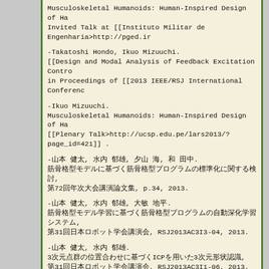-Takatoshi Hondo, Ikuo Mizuuchi.
Musculoskeletal Humanoids: Human-Inspired Design of Ha
Invited Talk at [[Instituto Militar de Engenharia>http://pged.ir
-Takatoshi Hondo, Ikuo Mizuuchi.
[[Design and Modal Analysis of Feedback Excitation Contro
in Proceedings of [[2013 IEEE/RSJ International Conferenc
-Ikuo Mizuuchi.
Musculoskeletal Humanoids: Human-Inspired Design of Ha
[[Plenary Talk>http://ucsp.edu.pe/lars2013/?page_id=421]] .
-□□ □□, □□ □□, □□ □, □ □□.
□□□□□□□□□□□□□□□□□□□□□□□□□□□□□□□□□□,
□72□□□□□□□□□□□□□□□□□□, p.34, 2013.
-□□ □□, □□ □□, □□ □□.
□□□□□□□□□□□□□□□□□□□□□□□□□□□□□□□□□□□□□□□□□□□,
□31□□□□□□□□□□□□□□□□□□□, RSJ2013AC3I3-04, 2013.
-□□ □□, □□ □□.
3□□□□□□□□□□□□□□□□□□□□ICP□□□□□□□□□3□□□□□□□□□,
□31□□□□□□□□□□□□□□□□□□□, RSJ2013AC3I1-06, 2013.
-□□ □□, □□ □□.
□□□□□□□□□□□□□□□□□□□□□□□□□□□□□□□□□□□□□□□□□□,
□31□□□□□□□□□□□□□□□□□□. RSJ2013AC2G2-03, 2013.